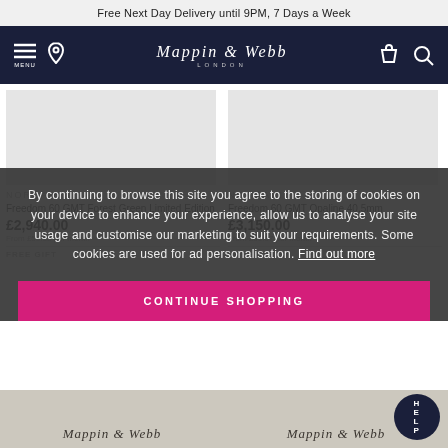Free Next Day Delivery until 9PM, 7 Days a Week
[Figure (logo): Mappin & Webb London logo with navigation icons (menu, location, bag, search) on dark navy background]
NOROAIN
Freedom 60 GMT Forest Green Limited Edition
£2,940.00
From £55.13 per month
NOROAIN
Freedom 60 GMT Opaline 40.5mm
£3,150.00
From £60.07 per month
By continuing to browse this site you agree to the storing of cookies on your device to enhance your experience, allow us to analyse your site usage and customise our marketing to suit your requirements. Some cookies are used for ad personalisation. Find out more
CONTINUE SHOPPING
FREE GIFT
FREE GIFT
[Figure (logo): Mappin & Webb script logo on product card background]
[Figure (logo): Mappin & Webb script logo on product card background]